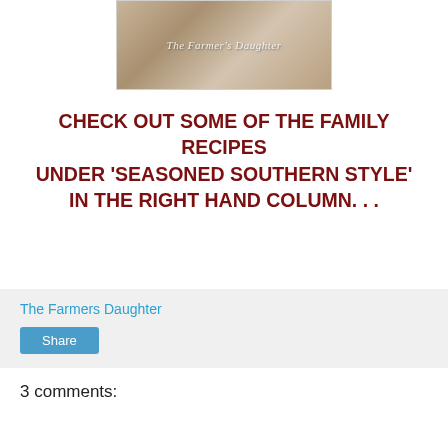[Figure (photo): Photo of baked bread or rolls on a wooden surface with a white cloth, with cursive text overlay reading 'The Farmer's Daughter']
CHECK OUT SOME OF THE FAMILY RECIPES UNDER 'SEASONED SOUTHERN STYLE' IN THE RIGHT HAND COLUMN. . .
The Farmers Daughter
Share
3 comments: